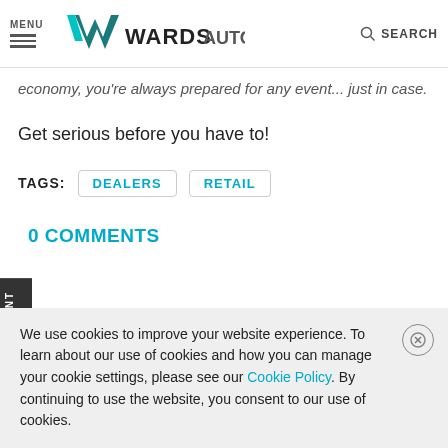MENU | WardsAuto | SEARCH
economy, you're always prepared for any event... just in case.
Get serious before you have to!
TAGS: DEALERS RETAIL
0 COMMENTS
We use cookies to improve your website experience. To learn about our use of cookies and how you can manage your cookie settings, please see our Cookie Policy. By continuing to use the website, you consent to our use of cookies.